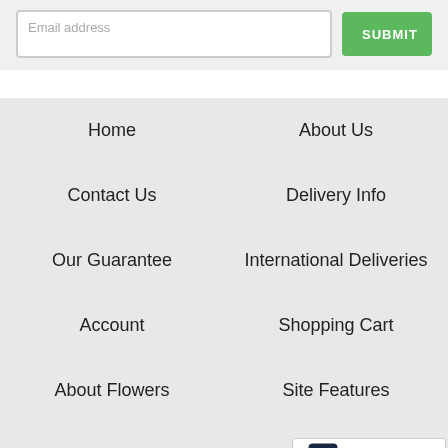Email address
Home
About Us
Contact Us
Delivery Info
Our Guarantee
International Deliveries
Account
Shopping Cart
About Flowers
Site Features
Security & Privacy
Bo...
[Figure (other): 5-star rating badge for The Warrenton Florist]